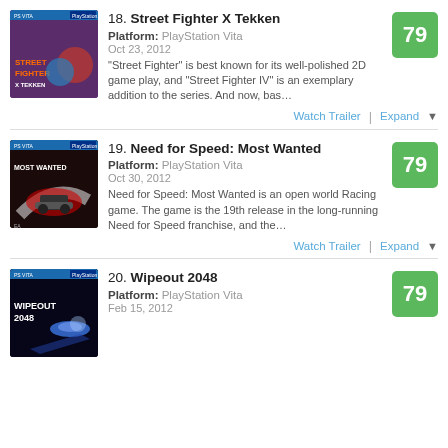18. Street Fighter X Tekken — Platform: PlayStation Vita — Oct 23, 2012 — Score: 79 — "Street Fighter" is best known for its well-polished 2D game play, and "Street Fighter IV" is an exemplary addition to the series. And now, bas…
19. Need for Speed: Most Wanted — Platform: PlayStation Vita — Oct 30, 2012 — Score: 79 — Need for Speed: Most Wanted is an open world Racing game. The game is the 19th release in the long-running Need for Speed franchise, and the…
20. Wipeout 2048 — Platform: PlayStation Vita — Feb 15, 2012 — Score: 79